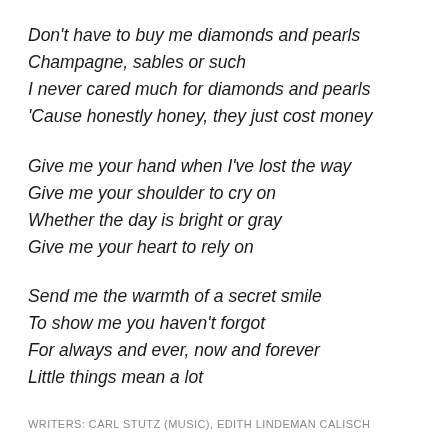Don't have to buy me diamonds and pearls
Champagne, sables or such
I never cared much for diamonds and pearls
'Cause honestly honey, they just cost money
Give me your hand when I've lost the way
Give me your shoulder to cry on
Whether the day is bright or gray
Give me your heart to rely on
Send me the warmth of a secret smile
To show me you haven't forgot
For always and ever, now and forever
Little things mean a lot
WRITERS: CARL STUTZ (MUSIC), EDITH LINDEMAN CALISCH